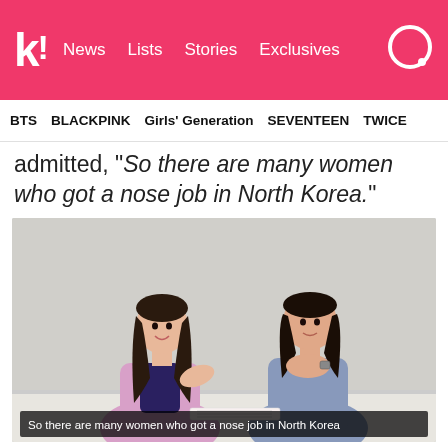k! News  Lists  Stories  Exclusives
BTS  BLACKPINK  Girls' Generation  SEVENTEEN  TWICE
admitted, “So there are many women who got a nose job in North Korea.”
[Figure (screenshot): Two young women seated at a table against a light gray background. The woman on the left has long straight dark hair and is wearing a pink cardigan, gesturing with her right hand. The woman on the right has dark hair and is wearing a light blue top, with her hands clasped under her chin. A subtitle overlay reads: 'So there are many women who got a nose job in North Korea']
| DIMPLE/YouTube